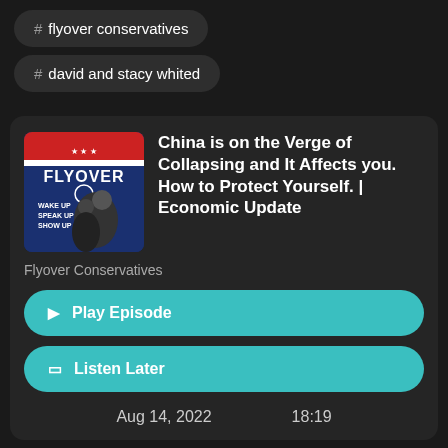# flyover conservatives
# david and stacy whited
[Figure (illustration): Flyover podcast cover art showing two hosts with text FLYOVER, WAKE UP SPEAK UP SHOW UP on blue and red background]
China is on the Verge of Collapsing and It Affects you. How to Protect Yourself. | Economic Update
Flyover Conservatives
▶ Play Episode
Listen Later
Aug 14, 2022     18:19